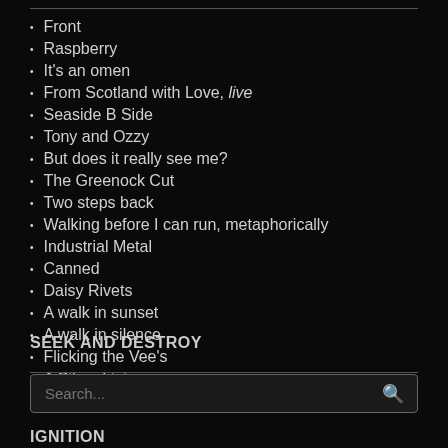Front
Raspberry
It's an omen
From Scotland with Love, live
Seaside B Side
Tony and Ozzy
But does it really see me?
The Greenock Cut
Two steps back
Walking before I can run, metaphorically
Industrial Metal
Canned
Daisy Rivets
A walk in sunset
A walk in silence
Flicking the Vee's
A Silver Lining
SEEK AND DESTROY
IGNITION